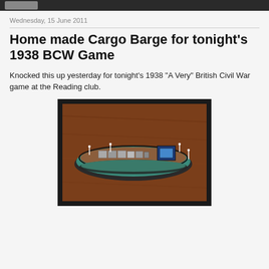Wednesday, 15 June 2011
Home made Cargo Barge for tonight's 1938 BCW Game
Knocked this up yesterday for tonight's 1938 "A Very" British Civil War game at the Reading club.
[Figure (photo): A homemade model cargo barge photographed on a wooden surface. The barge is elongated, with a teal/green hull, brown wooden deck, small cargo containers and figures along the middle, and a blue cabin structure at the rear. White poles stick up at various points.]